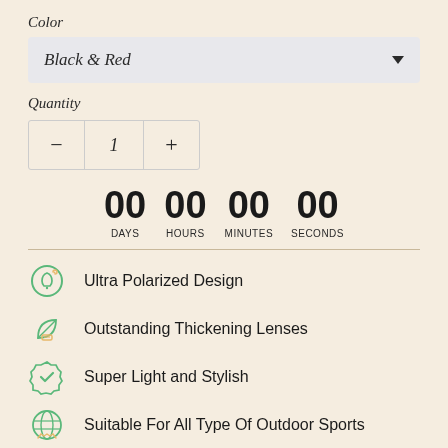Color
Black & Red
Quantity
— 1 +
00 DAYS 00 HOURS 00 MINUTES 00 SECONDS
Ultra Polarized Design
Outstanding Thickening Lenses
Super Light and Stylish
Suitable For All Type Of Outdoor Sports